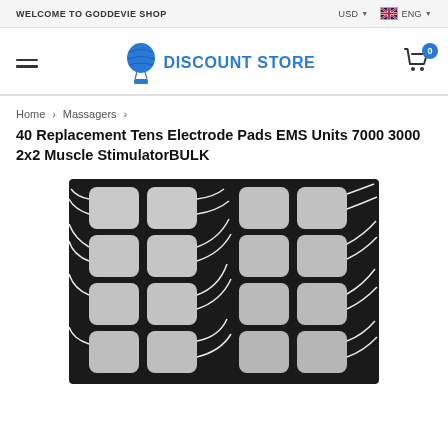WELCOME TO GODDEVIE SHOP | USD | ENG
[Figure (logo): Hot air balloon logo with text DISCOUNT STORE in blue]
Home > Massagers >
40 Replacement Tens Electrode Pads EMS Units 7000 3000 2x2 Muscle StimulatorBULK
[Figure (photo): Photo of TENS electrode pads laid out in two groups on a dark background, white square pads with white lead wires]